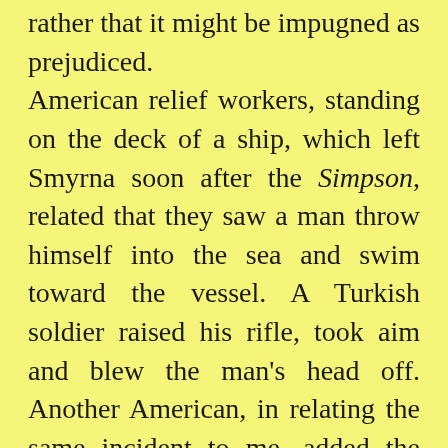rather that it might be impugned as prejudiced. American relief workers, standing on the deck of a ship, which left Smyrna soon after the Simpson, related that they saw a man throw himself into the sea and swim toward the vessel. A Turkish soldier raised his rifle, took aim and blew the man's head off. Another American, in relating the same incident to me, added the detail that the Turk pointed his rifle over the shoulder of a British Marine. Teachers and others of the American Girls' school told me that they saw a lady who resided in the house directly across the street